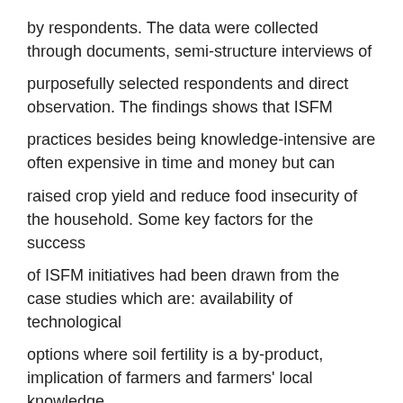by respondents. The data were collected through documents, semi-structure interviews of
purposefully selected respondents and direct observation. The findings shows that ISFM
practices besides being knowledge-intensive are often expensive in time and money but can
raised crop yield and reduce food insecurity of the household. Some key factors for the success
of ISFM initiatives had been drawn from the case studies which are: availability of technological
options where soil fertility is a by-product, implication of farmers and farmers' local knowledge
during the entire development of soil fertility strategies, existence of partnerships between
different stakeholders with wide range of expertise (e.g. economy, ecology, social sciences) and
activities (e.g. buyers, input suppliers, credit supplier, policy-makers), easy access to inputs,